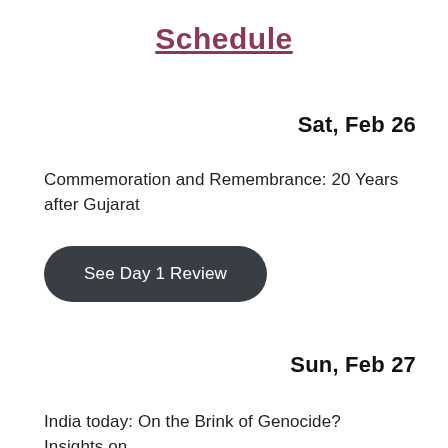Schedule
Sat, Feb 26
Commemoration and Remembrance: 20 Years after Gujarat
See Day 1 Review
Sun, Feb 27
India today: On the Brink of Genocide? Insights on